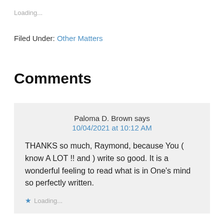Loading...
Filed Under: Other Matters
Comments
Paloma D. Brown says
10/04/2021 at 10:12 AM

THANKS so much, Raymond, because You ( know A LOT !! and ) write so good. It is a wonderful feeling to read what is in One's mind so perfectly written.

Loading...